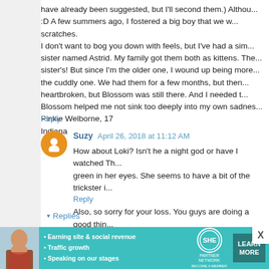have already been suggested, but I'll second them.) Althou... :D A few summers ago, I fostered a big boy that we w... scratches.
I don't want to bog you down with feels, but I've had a sim... sister named Astrid. My family got them both as kittens. The... sister's! But since I'm the older one, I wound up being more... the cuddly one. We had them for a few months, but then... heartbroken, but Blossom was still there. And I needed t... Blossom helped me not sink too deeply into my own sadnes...
Pinkie Welborne, 17
Indiana
Reply
Suzy  April 26, 2018 at 11:12 AM
How about Loki? Isn't he a night god or have I watched Th... green in her eyes. She seems to have a bit of the trickster i...

Also, so sorry for your loss. You guys are doing a good thin...
Reply
▾  Replies
Dee  April 26, 2018 at 12:45 PM
[Figure (infographic): SHE Partner Network advertisement banner with photo of woman, bullet points about earning site & social revenue, traffic growth, speaking on our stages, SHE logo, and Learn More button]